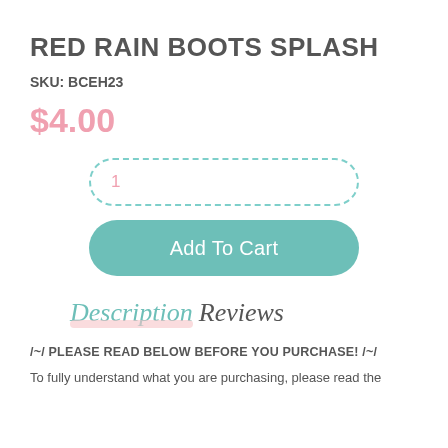RED RAIN BOOTS SPLASH
SKU: BCEH23
$4.00
1
Add To Cart
Description  Reviews
/~/ PLEASE READ BELOW BEFORE YOU PURCHASE! /~/
To fully understand what you are purchasing, please read the